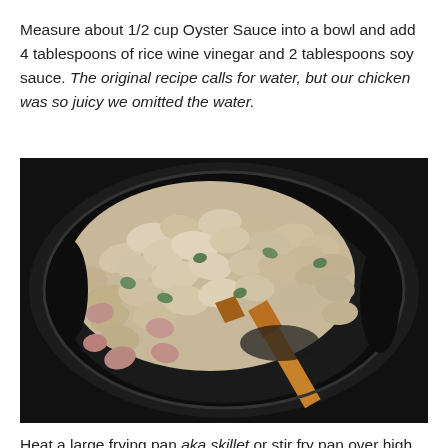Measure about 1/2 cup Oyster Sauce into a bowl and add 4 tablespoons of rice wine vinegar and 2 tablespoons soy sauce. The original recipe calls for water, but our chicken was so juicy we omitted the water.
[Figure (photo): Overhead photo of diced chicken pieces with green vegetables being stir-fried in a large dark skillet/wok, with a wooden spatula visible in the pan.]
Heat a large frying pan aka skillet or stir fry pan over high heat. Drizzle